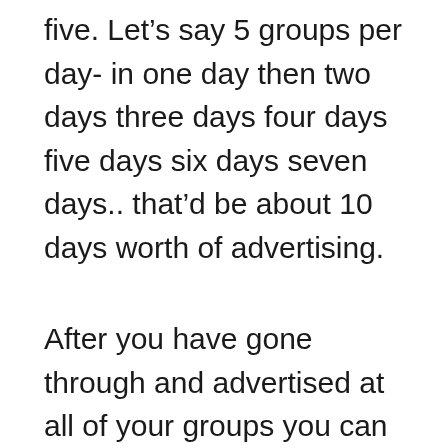five. Let's say 5 groups per day- in one day then two days three days four days five days six days seven days.. that'd be about 10 days worth of advertising.
After you have gone through and advertised at all of your groups you can rotate back to the beginning. You should do is go from highest to lowest. How I do this is to always put my highest member count group to the furthest left-hand side.